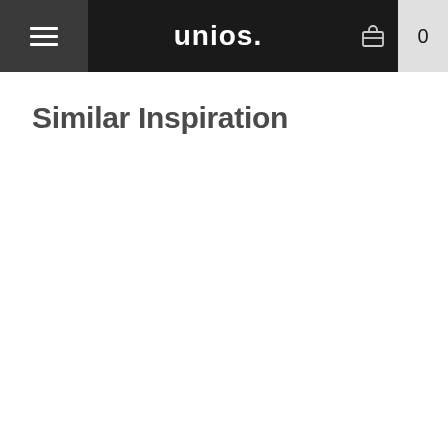unios. navigation header with hamburger menu, briefcase icon, and cart count 0
Similar Inspiration